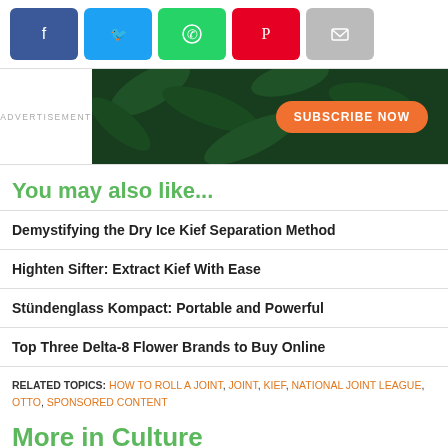[Figure (screenshot): Social media share buttons: Facebook (blue), Twitter (light blue), WhatsApp (green), Pinterest (red), Email (gray)]
[Figure (screenshot): Advertisement banner with dark green cannabis leaf background and orange 'SUBSCRIBE NOW' button]
ADVERTISEMENT
You may also like...
Demystifying the Dry Ice Kief Separation Method
Highten Sifter: Extract Kief With Ease
Stündenglass Kompact: Portable and Powerful
Top Three Delta-8 Flower Brands to Buy Online
RELATED TOPICS: HOW TO ROLL A JOINT, JOINT, KIEF, NATIONAL JOINT LEAGUE, OTTO, SPONSORED CONTENT
More in Culture